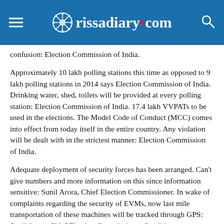rissadiary.com
confusion: Election Commission of India.
Approximately 10 lakh polling stations this time as opposed to 9 lakh polling stations in 2014 says Election Commission of India. Drinking water, shed, toilets will be provided at every polling station: Election Commission of India. 17.4 lakh VVPATs to be used in the elections. The Model Code of Conduct (MCC) comes into effect from today itself in the entire country. Any violation will be dealt with in the strictest manner: Election Commission of India.
Adequate deployment of security forces has been arranged. Can't give numbers and more information on this since information sensitive: Sunil Arora, Chief Election Commissioner. In wake of complaints regarding the security of EVMs, now last mile transportation of these machines will be tracked through GPS: Sunil Arora, Chief Election Commissioner.Candidates are required to furnish details of their social media accounts: CEC. We consider media as a potent force multiplier. Hence, we have